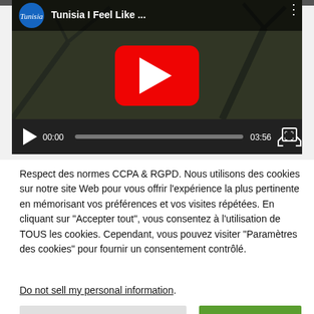[Figure (screenshot): YouTube video player showing 'Tunisia I Feel Like ...' video with play button overlay. Controls show 00:00 / 03:56 with progress bar.]
Respect des normes CCPA & RGPD. Nous utilisons des cookies sur notre site Web pour vous offrir l'expérience la plus pertinente en mémorisant vos préférences et vos visites répétées. En cliquant sur "Accepter tout", vous consentez à l'utilisation de TOUS les cookies. Cependant, vous pouvez visiter "Paramètres des cookies" pour fournir un consentement contrôlé.
Do not sell my personal information.
Paramètres des cookies
Accepter